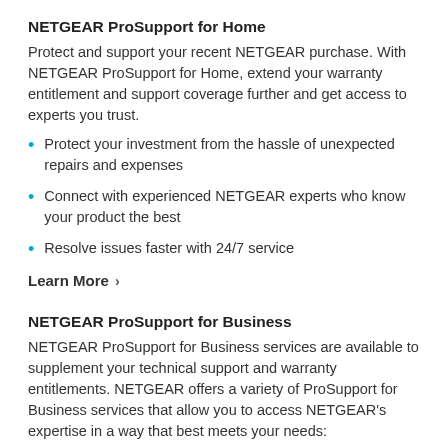NETGEAR ProSupport for Home
Protect and support your recent NETGEAR purchase. With NETGEAR ProSupport for Home, extend your warranty entitlement and support coverage further and get access to experts you trust.
Protect your investment from the hassle of unexpected repairs and expenses
Connect with experienced NETGEAR experts who know your product the best
Resolve issues faster with 24/7 service
Learn More ›
NETGEAR ProSupport for Business
NETGEAR ProSupport for Business services are available to supplement your technical support and warranty entitlements. NETGEAR offers a variety of ProSupport for Business services that allow you to access NETGEAR's expertise in a way that best meets your needs: